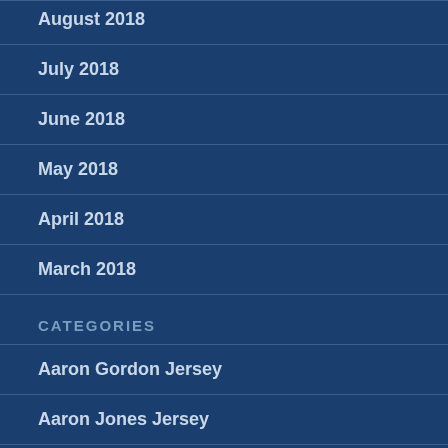August 2018
July 2018
June 2018
May 2018
April 2018
March 2018
CATEGORIES
Aaron Gordon Jersey
Aaron Jones Jersey
Adam Humphries Jersey